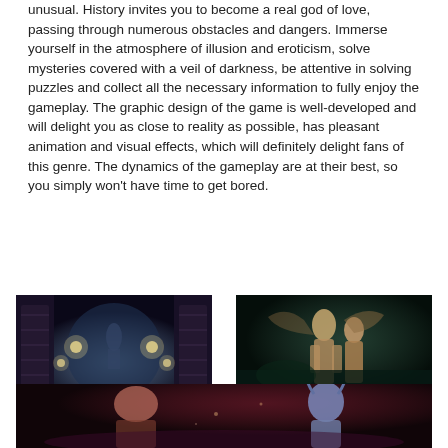unusual. History invites you to become a real god of love, passing through numerous obstacles and dangers. Immerse yourself in the atmosphere of illusion and eroticism, solve mysteries covered with a veil of darkness, be attentive in solving puzzles and collect all the necessary information to fully enjoy the gameplay. The graphic design of the game is well-developed and will delight you as close to reality as possible, has pleasant animation and visual effects, which will definitely delight fans of this genre. The dynamics of the gameplay are at their best, so you simply won't have time to get bored.
[Figure (screenshot): Dark fantasy game screenshot showing an ornate temple/cave interior with glowing lights and architectural carvings]
[Figure (screenshot): Dark fantasy game screenshot showing two humanoid figures in close proximity against a dark teal background]
[Figure (screenshot): Dark fantasy game screenshot showing a creature with horns in a dark reddish-purple environment]